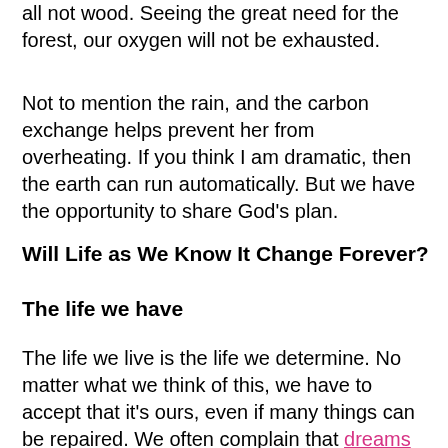all not wood. Seeing the great need for the forest, our oxygen will not be exhausted.
Not to mention the rain, and the carbon exchange helps prevent her from overheating. If you think I am dramatic, then the earth can run automatically. But we have the opportunity to share God’s plan.
Will Life as We Know It Change Forever?
The life we have
The life we live is the life we determine. No matter what we think of this, we have to accept that it’s ours, even if many things can be repaired. We often complain that dreams change and even